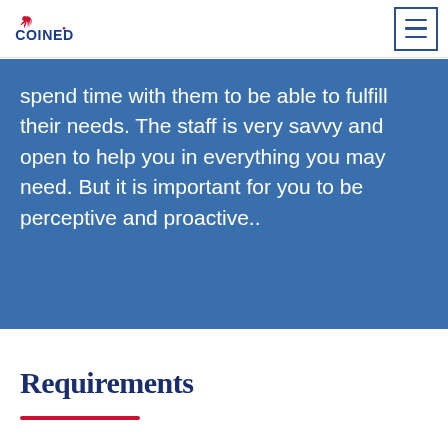COINED [logo with hamburger menu]
spend time with them to be able to fulfill their needs. The staff is very savvy and open to help you in everything you may need. But it is important for you to be perceptive and proactive..
Requirements